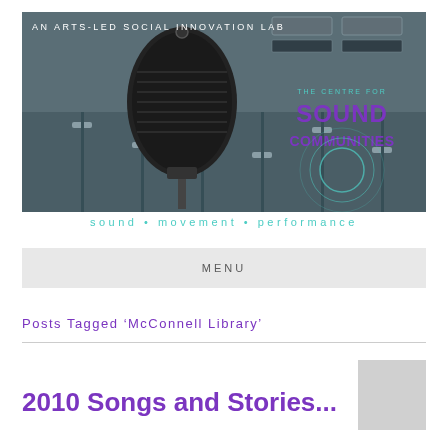[Figure (logo): The Centre for Sound Communities - An Arts-Led Social Innovation Lab banner with microphone and mixing board background]
sound • movement • performance
MENU
Posts Tagged 'McConnell Library'
2010 Songs and Stories...